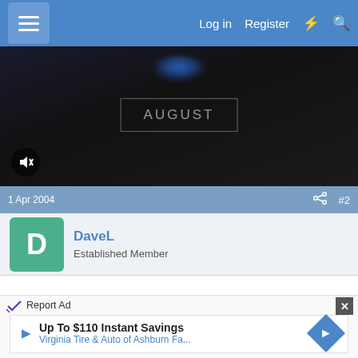Log in  Register
[Figure (screenshot): Dark video frame with AUGUST text in a white-bordered box and a mute button in the lower left]
1 Apr 2004   #2
DaveL
Established Member
Norman,

An idea of where you are would be helpful 😀
Report Ad
Up To $110 Instant Savings
Virginia Tire & Auto of Ashburn Fa...